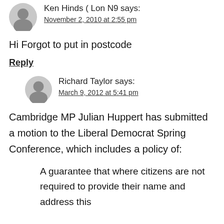Ken Hinds ( Lon N9 says:
November 2, 2010 at 2:55 pm
Hi Forgot to put in postcode
Reply
Richard Taylor says:
March 9, 2012 at 5:41 pm
Cambridge MP Julian Huppert has submitted a motion to the Liberal Democrat Spring Conference, which includes a policy of:
A guarantee that where citizens are not required to provide their name and address this